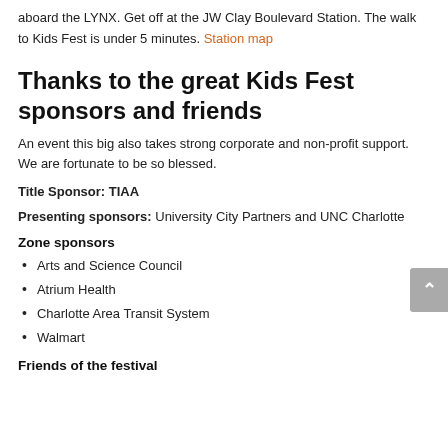aboard the LYNX. Get off at the JW Clay Boulevard Station. The walk to Kids Fest is under 5 minutes. Station map
Thanks to the great Kids Fest sponsors and friends
An event this big also takes strong corporate and non-profit support. We are fortunate to be so blessed.
Title Sponsor: TIAA
Presenting sponsors: University City Partners and UNC Charlotte
Zone sponsors
Arts and Science Council
Atrium Health
Charlotte Area Transit System
Walmart
Friends of the festival